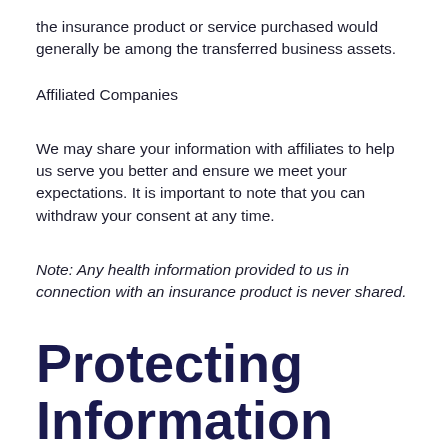the insurance product or service purchased would generally be among the transferred business assets.
Affiliated Companies
We may share your information with affiliates to help us serve you better and ensure we meet your expectations. It is important to note that you can withdraw your consent at any time.
Note: Any health information provided to us in connection with an insurance product is never shared.
Protecting Information
We will protect your personal information with appropriate safeguards and security measures. We will retain it only for the time it is required and for the purposes we explain.